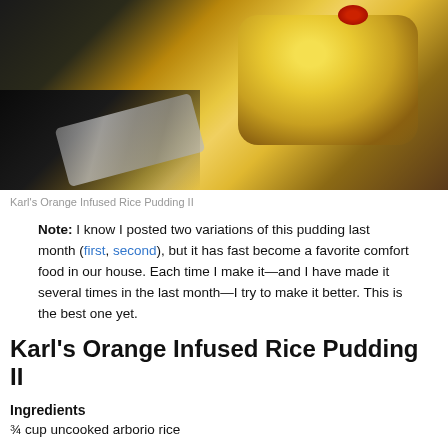[Figure (photo): Close-up photo of orange infused rice pudding in a dark container, showing yellow creamy texture with a red garnish on top, against a warm brown background]
Karl's Orange Infused Rice Pudding II
Note: I know I posted two variations of this pudding last month (first, second), but it has fast become a favorite comfort food in our house. Each time I make it—and I have made it several times in the last month—I try to make it better. This is the best one yet.
Karl's Orange Infused Rice Pudding II
Ingredients
¾ cup uncooked arborio rice